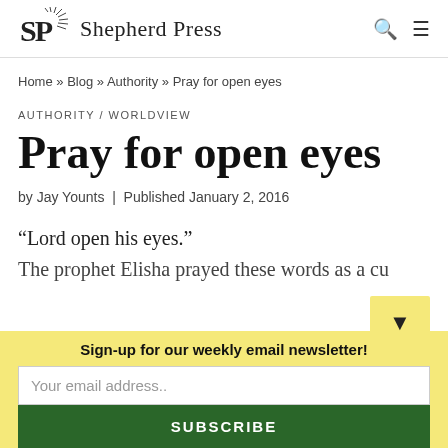Shepherd Press
Home » Blog » Authority » Pray for open eyes
AUTHORITY / WORLDVIEW
Pray for open eyes
by Jay Younts | Published January 2, 2016
“Lord open his eyes.”
Sign-up for our weekly email newsletter!
Your email address..
SUBSCRIBE